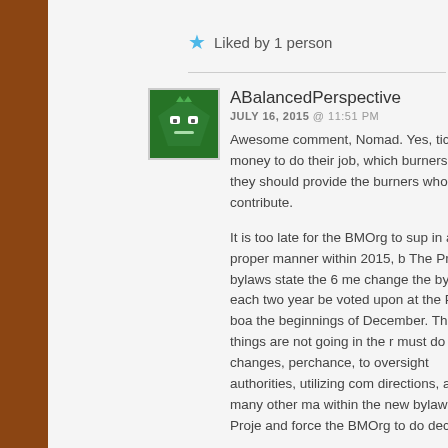Liked by 1 person
ABalancedPerspective
JULY 16, 2015 @ 11:51 PM
Awesome comment, Nomad. Yes, ticket money to do their job, which burners, and they should provide the burners whom contribute.

It is too late for the BMOrg to sup in a proper manner within 2015, b The Project bylaws state the 6 me change the bylaws each two year be voted upon at the Project boa the beginnings of December. The know things are not going in the r must do changes, perchance, to oversight authorities, utilizing com directions, and in many other ma within the new bylaws. The Proje and force the BMOrg to do deci